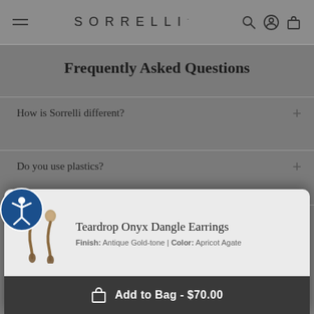SORRELLI
Frequently Asked Questions
How is Sorrelli different?
Do you use plastics?
Do you have a satisfaction guarantee/money
[Figure (screenshot): Teardrop Onyx Dangle Earrings product image in antique gold-tone with apricot agate color]
Teardrop Onyx Dangle Earrings
Finish: Antique Gold-tone | Color: Apricot Agate
Add to Bag - $70.00